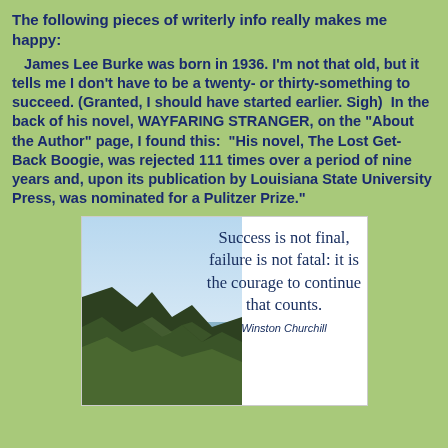The following pieces of writerly info really makes me happy:
James Lee Burke was born in 1936. I'm not that old, but it tells me I don't have to be a twenty- or thirty-something to succeed. (Granted, I should have started earlier. Sigh)  In the back of his novel, WAYFARING STRANGER, on the "About the Author" page, I found this:  "His novel, The Lost Get-Back Boogie, was rejected 111 times over a period of nine years and, upon its publication by Louisiana State University Press, was nominated for a Pulitzer Prize."
[Figure (illustration): A motivational image with a coastal cliff and sea background on the left, and on the right a quote reading 'Success is not final, failure is not fatal: it is the courage to continue that counts.' attributed to Winston Churchill.]